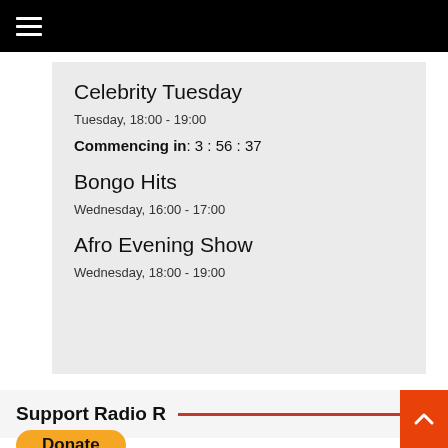☰ (hamburger menu icon)
Celebrity Tuesday
Tuesday, 18:00 - 19:00
Commencing in:  3 : 56 : 37
Bongo Hits
Wednesday, 16:00 - 17:00
Afro Evening Show
Wednesday, 18:00 - 19:00
Support Radio R
Donate